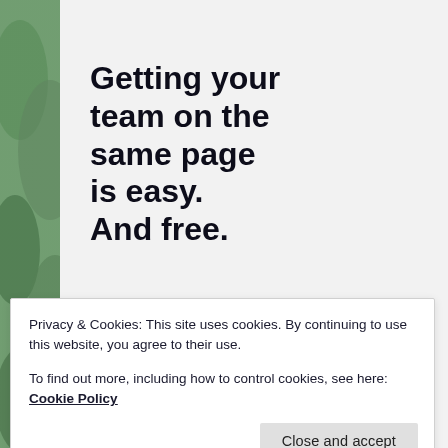[Figure (photo): Background greenery / blurred trees on left side of page]
Getting your team on the same page is easy. And free.
[Figure (photo): Two circular avatar photos of team members side by side]
Privacy & Cookies: This site uses cookies. By continuing to use this website, you agree to their use.
To find out more, including how to control cookies, see here: Cookie Policy
Close and accept